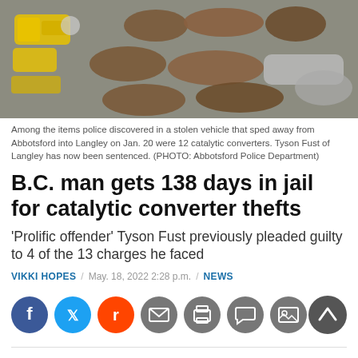[Figure (photo): Photo of catalytic converters and tools (power drill, grinder) laid out on a grey surface, discovered in a stolen vehicle.]
Among the items police discovered in a stolen vehicle that sped away from Abbotsford into Langley on Jan. 20 were 12 catalytic converters. Tyson Fust of Langley has now been sentenced. (PHOTO: Abbotsford Police Department)
B.C. man gets 138 days in jail for catalytic converter thefts
'Prolific offender' Tyson Fust previously pleaded guilty to 4 of the 13 charges he faced
VIKKI HOPES / May. 18, 2022 2:28 p.m. / NEWS